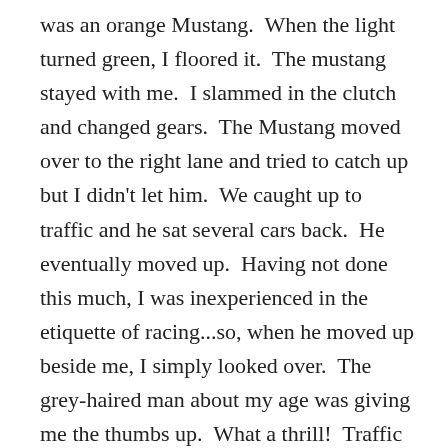was an orange Mustang.  When the light turned green, I floored it.  The mustang stayed with me.  I slammed in the clutch and changed gears.  The Mustang moved over to the right lane and tried to catch up but I didn't let him.  We caught up to traffic and he sat several cars back.  He eventually moved up.  Having not done this much, I was inexperienced in the etiquette of racing...so, when he moved up beside me, I simply looked over.  The grey-haired man about my age was giving me the thumbs up.  What a thrill!  Traffic was on the move so we couldn't converse.  He yelled over, "Now, you have to let me in ahead of you."  I was already ahead of him at that